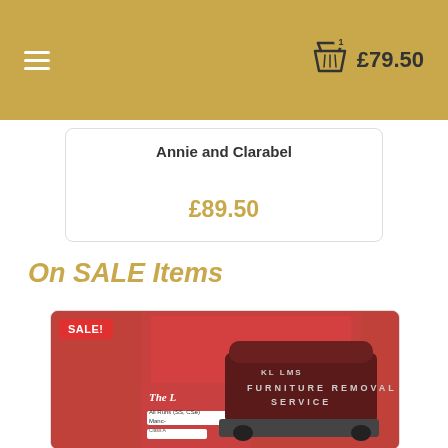£79.50 cart
Annie and Clarabel
£89.50
On SALE Items
[Figure (photo): A model train furniture removal service van (LMS Furniture Removal Service) in dark maroon/brown, shown in front of red retail packaging boxes. A red SALE! badge is in the top-left corner.]